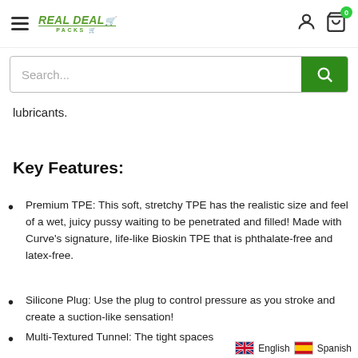[Figure (logo): Real Deal Packs logo in green with shopping cart icon and text]
[Figure (screenshot): Search bar with green search button]
lubricants.
Key Features:
Premium TPE: This soft, stretchy TPE has the realistic size and feel of a wet, juicy pussy waiting to be penetrated and filled! Made with Curve's signature, life-like Bioskin TPE that is phthalate-free and latex-free.
Silicone Plug: Use the plug to control pressure as you stroke and create a suction-like sensation!
Multi-Textured Tunnel: The tight spaces
[Figure (other): Language selector with English (UK flag) and Spanish (Spain flag) options]